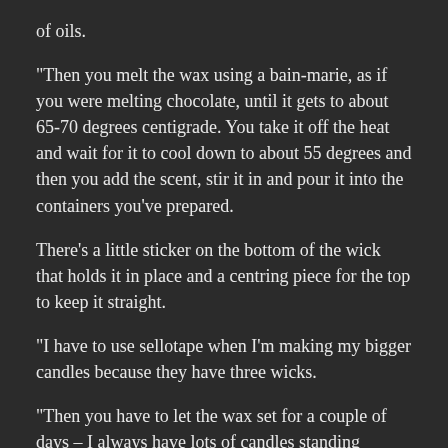of oils.
“Then you melt the wax using a bain-marie, as if you were melting chocolate, until it gets to about 65-70 degrees centigrade. You take it off the heat and wait for it to cool down to about 55 degrees and then you add the scent, stir it in and pour it into the containers you’ve prepared.
There’s a little sticker on the bottom of the wick that holds it in place and a centring piece for the top to keep it straight.
“I have to use sellotape when I’m making my bigger candles because they have three wicks.
“Then you have to let the wax set for a couple of days – I always have lots of candles standing around in my house at different stages of the process.”